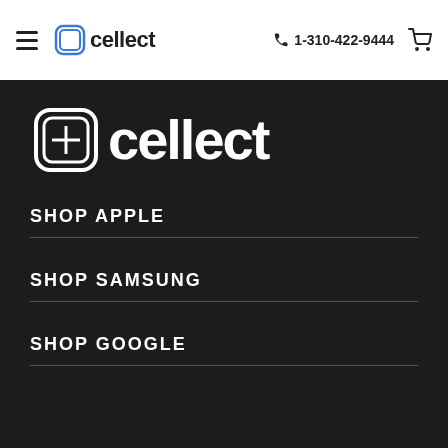cellect | 1-310-422-9444
[Figure (logo): Cellect logo large white on dark background with phone icon]
SHOP APPLE
SHOP SAMSUNG
SHOP GOOGLE